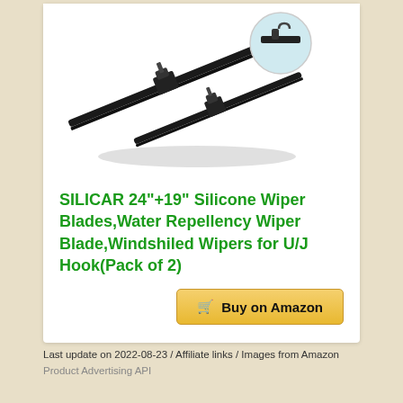[Figure (photo): Product photo of two black silicone wiper blades laid flat, with a small circular inset image showing a close-up of the hook connector.]
SILICAR 24"+19" Silicone Wiper Blades,Water Repellency Wiper Blade,Windshiled Wipers for U/J Hook(Pack of 2)
Buy on Amazon
Last update on 2022-08-23 / Affiliate links / Images from Amazon Product Advertising API